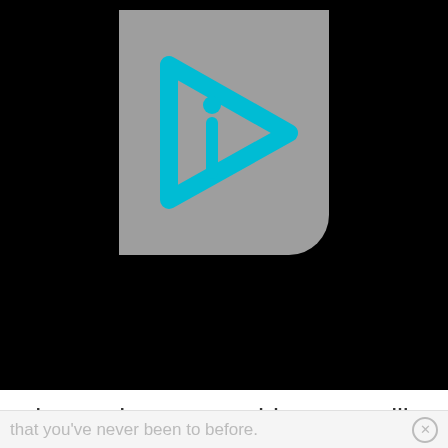[Figure (logo): Gray rounded rectangle logo with cyan/teal play-button triangle shape and letter 'i' inside]
class to learn something new will bring new interest into your relationship and conversation.
8. Go to an exhibit. Head to an aquarium, art exhibit, or museum
that you've never been to before.